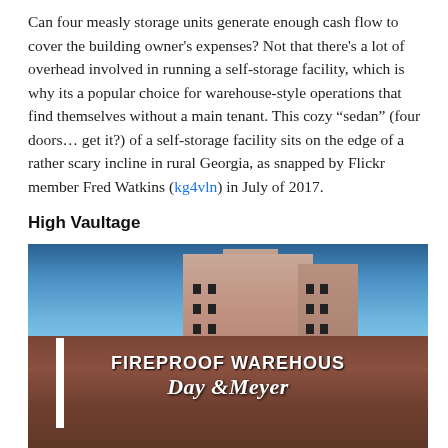Can four measly storage units generate enough cash flow to cover the building owner's expenses? Not that there's a lot of overhead involved in running a self-storage facility, which is why its a popular choice for warehouse-style operations that find themselves without a main tenant. This cozy “sedan” (four doors… get it?) of a self-storage facility sits on the edge of a rather scary incline in rural Georgia, as snapped by Flickr member Fred Watkins (kg4vln) in July of 2017.
High Vaultage
[Figure (photo): Low-angle photo of a tall brick building with sign reading FIREPROOF WAREHOUSE Day & Meyer, taken from below against a blue sky.]